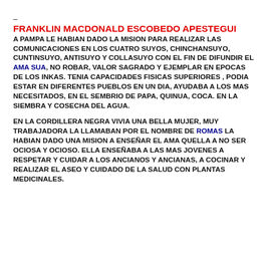_
FRANKLIN MACDONALD ESCOBEDO APESTEGUI
A PAMPA LE HABIAN DADO LA MISION PARA REALIZAR LAS COMUNICACIONES EN LOS CUATRO SUYOS, CHINCHANSUYO, CUNTINSUYO, ANTISUYO Y COLLASUYO CON EL FIN DE DIFUNDIR EL AMA SUA, NO ROBAR, VALOR SAGRADO Y EJEMPLAR EN EPOCAS DE LOS INKAS. TENIA CAPACIDADES FISICAS SUPERIORES , PODIA ESTAR EN DIFERENTES PUEBLOS EN UN DIA, AYUDABA A LOS MAS NECESITADOS, EN EL SEMBRIO DE PAPA, QUINUA, COCA. EN LA SIEMBRA Y COSECHA DEL AGUA.
EN LA CORDILLERA NEGRA VIVIA UNA BELLA MUJER, MUY TRABAJADORA LA LLAMABAN POR EL NOMBRE DE ROMAS LA HABIAN DADO UNA MISION A ENSEÑAR EL AMA QUELLA A NO SER OCIOSA Y OCIOSO. ELLA ENSEÑABA A LAS MAS JOVENES A RESPETAR Y CUIDAR A LOS ANCIANOS Y ANCIANAS, A COCINAR Y REALIZAR EL ASEO Y CUIDADO DE LA SALUD CON PLANTAS MEDICINALES.